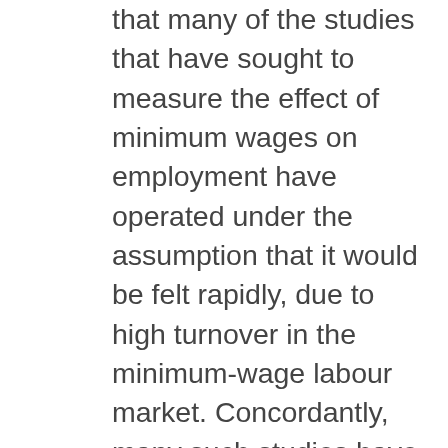that many of the studies that have sought to measure the effect of minimum wages on employment have operated under the assumption that it would be felt rapidly, due to high turnover in the minimum-wage labour market. Concordantly, many such studies have neglected to look beyond a short-term analysis. Yet this may well be a serious error as it ignores the possibility that firms' demand for labour may decrease in the long run as they slowly adjust non-labour inputs. Much of the difference between those studies that purport to show no disemployment effect and those that do may be reconciled by the inclusion of time lags, a particularly salient observation raised by numerous critics. In particular, Neumark and Wascher (2000) replicated Card's methodology in the 1992 study of the federal minimum wage increase, but included the possibility of such a lag. They found that this addition produced a negative and statistically significant disemployment effect of the minimum wage. A 1990 study by Belenager, produced a...